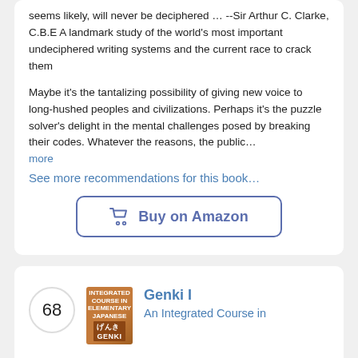seems likely, will never be deciphered … --Sir Arthur C. Clarke, C.B.E A landmark study of the world's most important undeciphered writing systems and the current race to crack them
Maybe it's the tantalizing possibility of giving new voice to long-hushed peoples and civilizations. Perhaps it's the puzzle solver's delight in the mental challenges posed by breaking their codes. Whatever the reasons, the public… more
See more recommendations for this book…
[Figure (other): Buy on Amazon button with shopping cart icon, blue bordered rounded rectangle]
68
[Figure (photo): Book cover thumbnail for Genki I, orange/brown colored cover with Japanese text]
Genki I
An Integrated Course in